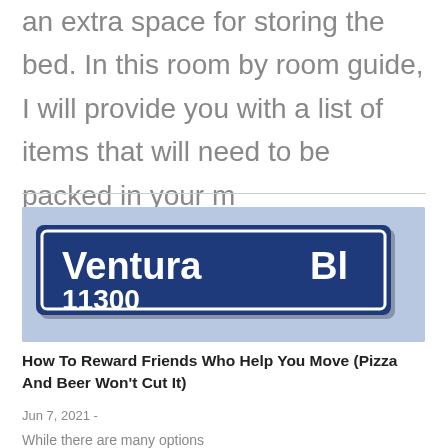an extra space for storing the bed. In this room by room guide, I will provide you with a list of items that will need to be packed in your m
[Figure (photo): Street sign showing 'Ventura Bl 11300' on a blue sign with white text, against a light blue-gray sky background]
How To Reward Friends Who Help You Move (Pizza And Beer Won't Cut It)
Jun 7, 2021 -
While there are many options